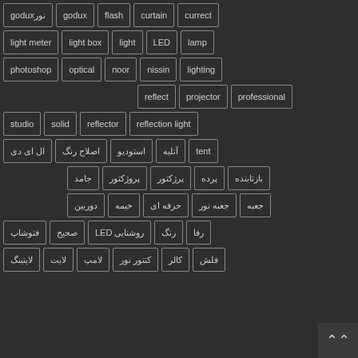نورgodux | godux | flash | curtain | currect
light meter | light box | light | LED | lamp
photoshop | optical | noor | nissin | lighting
reflect | projector | professional
studio | solid | reflector | reflection light
ال ای دی | اصلاح رنگ | استودیو | آتلیه | tent
جامد | پروژکتور | پرژکتور | پرده | بازتابنده
دوربین | خیمه | حرفه ای | جعبه نور | جعبه
فتوشاپ | صحیح | روشنایی LED | رنگ | رفا
لایتینگ | لایت | لامپ | کنتور نور | کالر | فلش